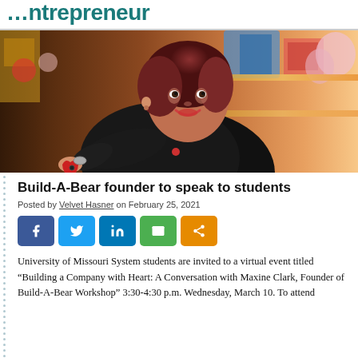…ntrepreneur
[Figure (photo): Woman with short auburn hair smiling in a toy store, wearing black jacket, holding a small red stuffed animal. Colorful toys visible in background.]
Build-A-Bear founder to speak to students
Posted by Velvet Hasner on February 25, 2021
[Figure (infographic): Social sharing buttons: Facebook (blue), Twitter (light blue), LinkedIn (dark blue), Email (green), Share (orange)]
University of Missouri System students are invited to a virtual event titled “Building a Company with Heart: A Conversation with Maxine Clark, Founder of Build-A-Bear Workshop” 3:30-4:30 p.m. Wednesday, March 10. To attend